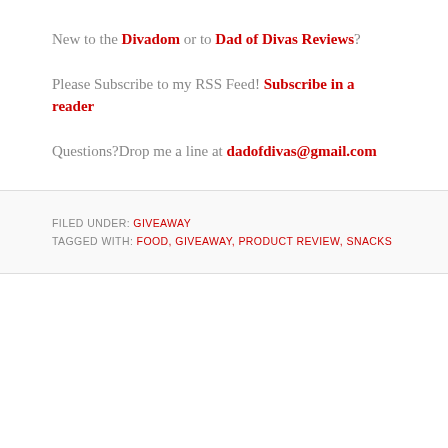New to the Divadom or to Dad of Divas Reviews?
Please Subscribe to my RSS Feed! Subscribe in a reader
Questions?Drop me a line at dadofdivas@gmail.com
FILED UNDER: GIVEAWAY
TAGGED WITH: FOOD, GIVEAWAY, PRODUCT REVIEW, SNACKS